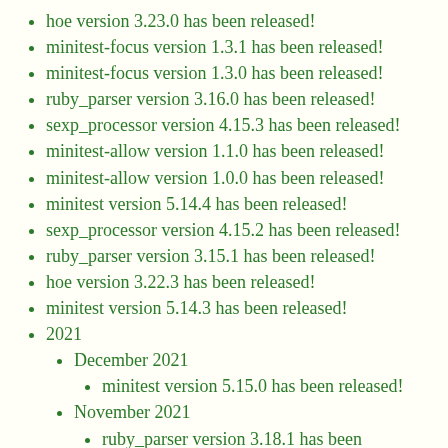hoe version 3.23.0 has been released!
minitest-focus version 1.3.1 has been released!
minitest-focus version 1.3.0 has been released!
ruby_parser version 3.16.0 has been released!
sexp_processor version 4.15.3 has been released!
minitest-allow version 1.1.0 has been released!
minitest-allow version 1.0.0 has been released!
minitest version 5.14.4 has been released!
sexp_processor version 4.15.2 has been released!
ruby_parser version 3.15.1 has been released!
hoe version 3.22.3 has been released!
minitest version 5.14.3 has been released!
2021
December 2021
minitest version 5.15.0 has been released!
November 2021
ruby_parser version 3.18.1 has been released!
October 2021